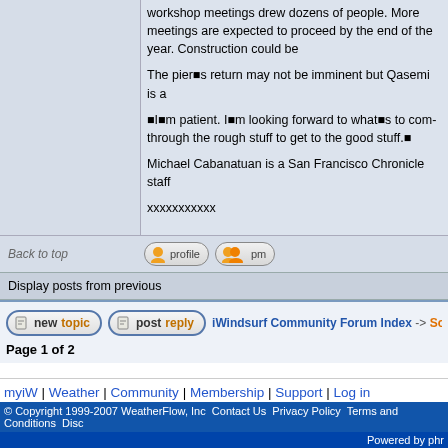workshop meetings drew dozens of people. More meet... to proceed by the end of the year. Construction could be...

The pier’s return may not be imminent but Qasemi is a...

“I’m patient. I’m looking forward to what’s to com... through the rough stuff to get to the good stuff.”

Michael Cabanatuan is a San Francisco Chronicle staff...

xxxxxxxxxxx
Back to top
Display posts from previous...
iWindsurf Community Forum Index -> Southwest U...
Page 1 of 2
myiW | Weather | Community | Membership | Support | Log in
© Copyright 1999-2007 WeatherFlow, Inc Contact Us Privacy Policy Terms and Conditions Disc...
Powered by phr...